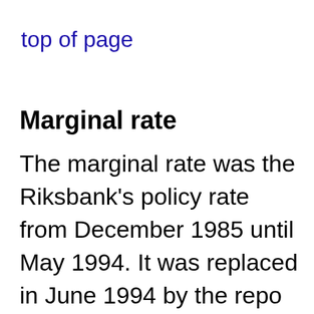top of page
Marginal rate
The marginal rate was the Riksbank's policy rate from December 1985 until May 1994. It was replaced in June 1994 by the repo rate, the deposit rate and the lending